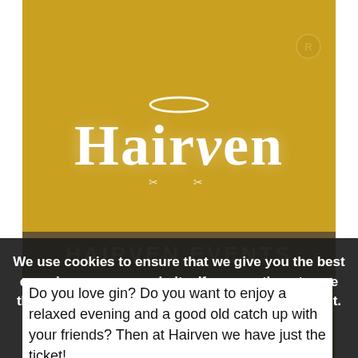[Figure (logo): Hairven brand logo on golden yellow background. White text 'Hairven' in large serif font with a white halo above the letter 'i'. Small scissors/tools icon below. A registered trademark circle in the upper right corner of the golden area. A dark band near the bottom reads 'HAIRVEN EVENTS' in gold uppercase letters.]
We use cookies to ensure that we give you the best experience on our website. If you continue to use this site we will assume that you are happy with it.
OK
Privacy Policy
Do you love gin? Do you want to enjoy a relaxed evening and a good old catch up with your friends? Then at Hairven we have just the ticket!